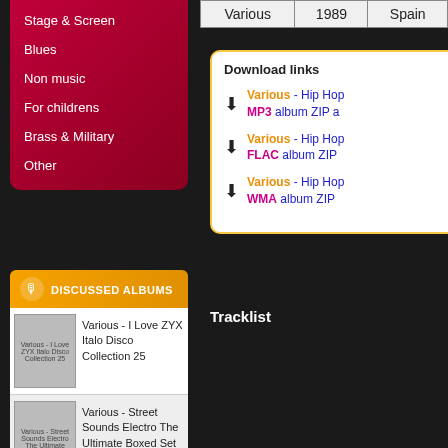Stage & Screen
Blues
Non music
For childrens
Brass & Military
Other
DISCUSSED ALBUMS
Various - I Love ZYX Italo Disco Collection 25
Various - Street Sounds Electro The Ultimate Boxed Set
|  | 1989 | Spain |
| --- | --- | --- |
| Various | 1989 | Spain |
Download links
Various - Hip Hop MP3 album ZIP a
Various - Hip Hop FLAC album ZIP
Various - Hip Hop WMA album ZIP
Tracklist
| Track | Artist |
| --- | --- |
| A1 | –Asher D & Daddy Fred |
| A2 | –Thrashpack |
| A3 | –Nomis Sirrah |
| B1 | –C.J. Mackintosh* & Ein |
| B2 | –M.C. Duke* |